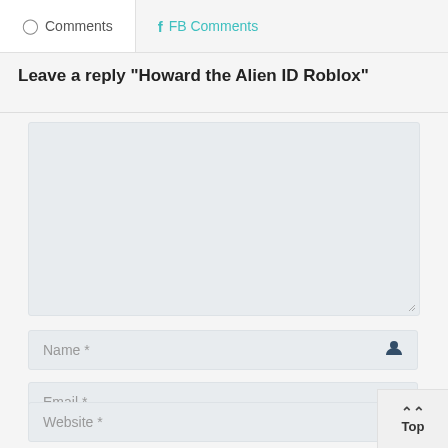Comments | FB Comments
Leave a reply "Howard the Alien ID Roblox"
Name *
Email *
Website *